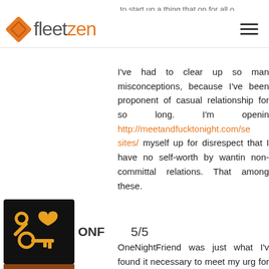fleetzen
I've had to clear up so many misconceptions, because I've been a proponent of casual relationships for so long. I'm opening http://meetandfucktonight.com/se sites/ myself up for disrespect and that I have no self-worth by wanting non-committal relations. That among these.
[Figure (logo): ONF logo - black square with gold wrench, heart and key icons]
ONF 5/5
OneNightFriend was just what I've found it necessary to meet my urge for food for consensual hookup and one evening entertaining. Th